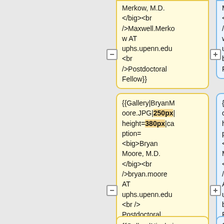Merkow, M.D.</big><br />Maxwell.Merkow AT uphs.upenn.edu<br />Postdoctoral Fellow}}
Merkow, M.D.</big><br />Maxwell.Merkow AT uphs.upenn.edu<br />Postdoctoral Fellow}}
{{Gallery|BryanMoore.JPG|250px|height=380px|caption=<big>Bryan Moore, M.D.</big><br />bryan.moore AT uphs.upenn.edu<br /> Postdoctoral Fellow}}
{{Gallery|BryanMoore.JPG|225px|height=300px|caption=<big>Bryan Moore, M.D.</big><br />bryan.moore AT uphs.upenn.edu<br /> Postdoctoral Fellow}}
{{Gallery|Nicole.j
{{Gallery|Nicole.j